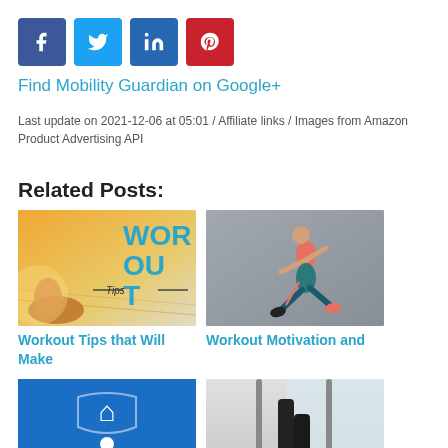[Figure (other): Social media share buttons: Facebook (dark blue), Twitter (light blue), LinkedIn (blue), Pinterest (red)]
Find Mobility Guardian on Google+
Last update on 2021-12-06 at 05:01 / Affiliate links / Images from Amazon Product Advertising API
Related Posts:
[Figure (photo): Workout tips image with orange/golden tones showing running shoe and WOR OU T Tips text overlay in teal]
[Figure (photo): Woman running in pink sports bra and teal leggings against grey background]
Workout Tips that Will Make
Workout Motivation and
[Figure (logo): Under Armour logo on blue background with person figure]
[Figure (photo): Person on treadmill, legs visible, gym setting]